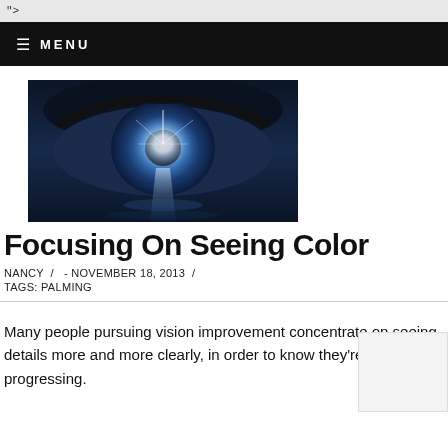">
≡ MENU
[Figure (photo): Close-up of a human eye with a bright blue glow emanating from the pupil, with a reflection of a glowing light on a dark watery surface below.]
Focusing On Seeing Color
NANCY  /   - NOVEMBER 18, 2013  /
TAGS: PALMING
Many people pursuing vision improvement concentrate on seeing details more and more clearly, in order to know they're progressing.